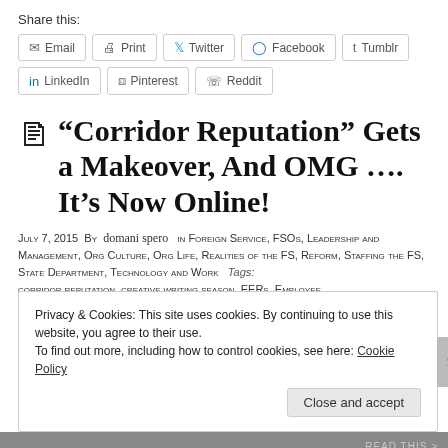Share this:
Email | Print | Twitter | Facebook | Tumblr | LinkedIn | Pinterest | Reddit
“Corridor Reputation” Gets a Makeover, And OMG …. It’s Now Online!
July 7, 2015  By  domani spero  in Foreign Service, FSOs, Leadership and Management, Org Culture, Org Life, Realities of the FS, Reform, Staffing the FS, State Department, Technology and Work  Tags: corridor reputation, creative writing season, EERs, Employee ...
Privacy & Cookies: This site uses cookies. By continuing to use this website, you agree to their use.
To find out more, including how to control cookies, see here: Cookie Policy
Close and accept